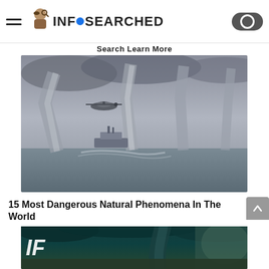INFOSEARCHED
Search Learn More
[Figure (photo): A dramatic ocean scene showing multiple waterspouts in the background, a military helicopter flying overhead, and a fishing boat on the water in the foreground under a dark cloudy sky.]
15 Most Dangerous Natural Phenomena In The World
[Figure (photo): A dark stormy scene showing a large tornado or funnel cloud over water with dark teal/green cloud formations, with an 'IF' logo in the bottom left corner.]